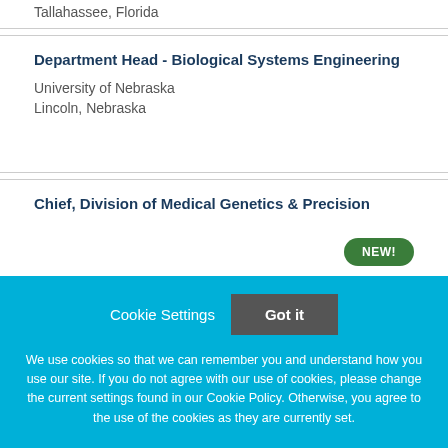Tallahassee, Florida
Department Head - Biological Systems Engineering
University of Nebraska
Lincoln, Nebraska
NEW!
Chief, Division of Medical Genetics & Precision
Cookie Settings
Got it
We use cookies so that we can remember you and understand how you use our site. If you do not agree with our use of cookies, please change the current settings found in our Cookie Policy. Otherwise, you agree to the use of the cookies as they are currently set.